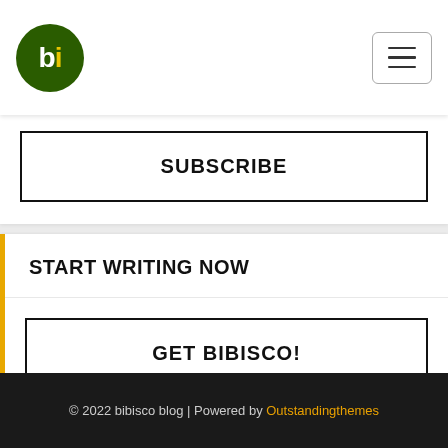bi (bibisco logo) | hamburger menu
SUBSCRIBE
START WRITING NOW
GET BIBISCO!
© 2022 bibisco blog | Powered by Outstandingthemes